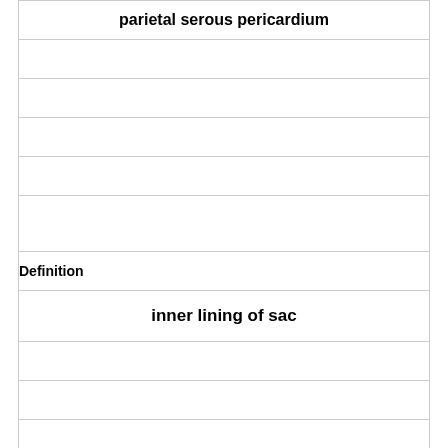| parietal serous pericardium |
|  |
|  |
|  |
|  |
|  |
|  |
|  |
|  |
|  |
| Definition |  |
| inner lining of sac |
|  |
|  |
|  |
|  |
|  |
|  |
|  |
|  |
| T... |